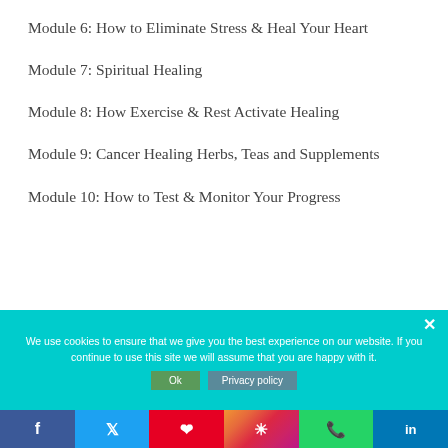Module 6: How to Eliminate Stress & Heal Your Heart
Module 7: Spiritual Healing
Module 8: How Exercise & Rest Activate Healing
Module 9: Cancer Healing Herbs, Teas and Supplements
Module 10: How to Test & Monitor Your Progress
We use cookies to ensure that we give you the best experience on our website. If you continue to use this site we will assume that you are happy with it.
Facebook Twitter Pinterest Instagram WhatsApp LinkedIn